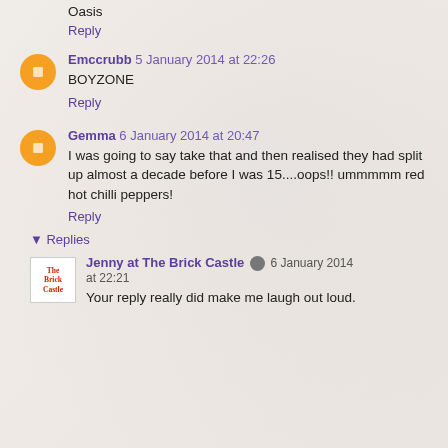Oasis
Reply
Emccrubb 5 January 2014 at 22:26
BOYZONE
Reply
Gemma 6 January 2014 at 20:47
I was going to say take that and then realised they had split up almost a decade before I was 15....oops!! ummmmm red hot chilli peppers!
Reply
▼ Replies
Jenny at The Brick Castle 6 January 2014 at 22:21
Your reply really did make me laugh out loud.